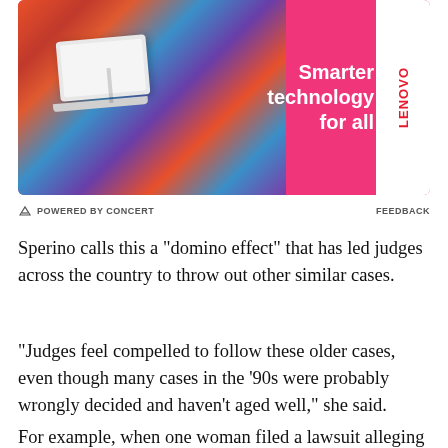[Figure (photo): Advertisement banner for Lenovo featuring a person in a colorful outfit holding a white laptop, on a hot pink background. Text reads 'Smarter technology for all' with the Lenovo logo in a white vertical box on the right.]
POWERED BY CONCERT   FEEDBACK
Sperino calls this a "domino effect" that has led judges across the country to throw out other similar cases.
"Judges feel compelled to follow these older cases, even though many cases in the '90s were probably wrongly decided and haven't aged well," she said.
For example, when one woman filed a lawsuit alleging that her supervisor fired her after she